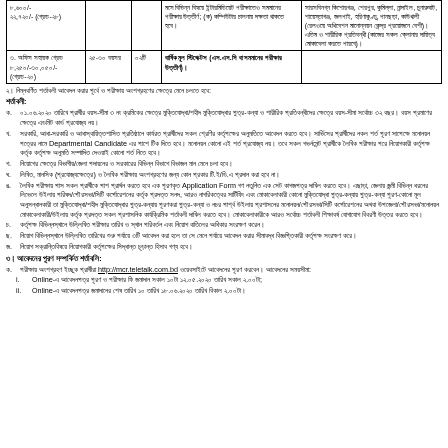|  |  |  |  |  |
| --- | --- | --- | --- | --- |
| ৮,৬০০/-
২২,৭২০/- (গ্রেড-২৮) |  |  | মসে বিভিন্ন বিষয়ে ইন্টারমিডিয়েট পরীক্ষাতেও সমমানের পরীক্ষার উত্তীর্ণ; (ক) কম্পিউটার চালনায় দক্ষতা থাকতে হবে। | সারসবিনগ্ন কিশোরগঞ্জ, শেরপুর, কুমিল্লা, নান্দাইল, চুনারুঘাট, শায়েস্তাগঞ্জ, জলপাই, হরিণাকুণ্ডু, পানছড়া, কাউখালী (রেলওয়ে অধিবেশন মানোন্নয়ন কেন্দ্র প্রয়োজনে বেশী)। এতিম ও শারীরিক প্রতিবন্ধী (কাজের সকল ক্লোনার দায়িত্ব মোকাবেলা করতে পারবে)। |
| ৩. অফিস সহায়ক গ্রেড ৮,২৫০/-৩০,০৫০/- (গ্রেড-২০) | ২৫-৩০ বয়সর | ০২টি | বার্ষিক মূল স্টিপেক্টস (এস.এস.সি বা সমমানের পরীক্ষার উত্তীর্ণ)। |  |
২। নিম্নবর্ণিত শর্তাবলী আবেদন করার পূর্বে ও পরীক্ষায় অংশগ্রহণের ক্ষেত্রে মেনে চলতে হবে:
শর্তাবলী:
ক. ০১.০৬.২০২০ তারিখে প্রার্থীর বয়স-র্সীমা ৩ নং ক্রমিকের ক্ষেত্রে মুক্তিযোদ্ধা/শহীদ মুক্তিযোদ্ধার পুত্র-কন্যা ও শারীরিক প্রতিবন্ধীদের ক্ষেত্রে বয়স-সীমা সর্বোচ্চ ৩২ বছর। বয়স প্রমাণের ক্ষেত্রে এডমিট কার্ড প্রযোজ্য নয়।
খ. সরকারি, আধা-সরকারি ও আধাস্বায়িত্তশাসিত প্রতিষ্ঠানে কার্যরত প্রার্থীদের সকল শ্রেণির কর্তৃপক্ষের অনুমতিতে আবেদন করতে হবে। সার্ভিসের প্রার্থীদের নকল শর্ত পূরণ সাপেক্ষে মনোনয়ন পত্রের নামে Departmental Candidate এর পাশে টিক দিতে হবে। মনোনয়ন কোনো এই শর্ত প্রযোজ্য নয়। তবে সকল গভর্নমেন্ট প্রার্থীকে লৈখিক পরীক্ষার পরে নিয়োগকারী কর্তৃপক্ষ কর্তৃক কর্তৃপক্ষ অনুমতি সম্পাদিত দেওয়াই কোনো শর্ত নিতে হবে।
গ. নিয়োগের ক্ষেত্রে বিভাগীয়/জেলা পদায়নের ও সরকারের বিভিন্ন বিভাগে বিভাজন মান মেনে চলা হবে।
ঘ. লিখিত, মানসিক (প্রযোজ্যক্ষেত্রে) ও লৈখিক পরীক্ষায় অংশগ্রহণের জন্য কোন প্রকার টি.ই/ডি.এ প্রদান করা হবে না।
ঙ. লৈখিক পরীক্ষায় পাস সকল প্রার্থীকে পাশ প্রার্থন করতে হবে এক পূরণকৃত Application Form গণ নতুনিত এক সেট কাগজপত্র দাখিল করতে হবে। এছাড়া, জেলায় জন্মী বিভিন্ন ধরনের লিভেলে উইলায় পরিষদ/পৌরসভা/সিটি কর্পোরেশনের কর্তৃক প্রদত্ত সনদ, আরও নাগরিকত্বের সার্টিফিং এবং মোকাবেলাকারী কোনো মুক্তিযোদ্ধা পুত্র-কন্যায় পুত্র-কন্যা পূরণ-কোনো মূল অনুসন্ধানকারী তা মুক্তিযোদ্ধা/শহীদ মুক্তিযোদ্ধার পুত্র-কন্যায় পূরণকরা পুত্র-কন্যা ও নচর পার্শ্ব উইলায় প্রশাসনের মনোনয়ন/পৌরসভা/সিটি কর্পোরেশনের অথবা উপজেলা/পৌরসভা/মনোনয়ন মোকাবেলাকারী/উইলায় কর্তৃক প্রদত্ত সকল প্রশাসনিক কার্যক্রিমিক শর্তাবলী দাখিল করতে হবে। মোকাবেলাকারীকে আরও সর্বোচ্চ শর্তাবলী শিক্ষাবর্ষ যোগাযোগ বিবরণী উত্তর করতে হবে।
চ. কর্তৃপক্ষ বিভিন্নস্থানে উল্লিখিত পরীক্ষার তারিখ ও স্থান পরিবর্তন এবং নিয়োগ বাতিলের অধিকার সংরক্ষণ করেন।
ছ. নিয়োগ বিভিন্নস্থানে উল্লিখিত তারিখের শুরু পর্যায়ে ৩টি আবেদন করা হলে তা সে মেনে পর্যায়ে আবেদন করার সীমাবদ্ধ বিজ্ঞপ্তিকারী কর্তৃপক্ষ সংরক্ষণ করে।
জ. নিয়োগ সক্রান্তিবিষয়ে নিয়োগকারী কর্তৃপক্ষের সিদ্ধান্ত চূড়ান্ত হিসাব গণ্য হবে।
৩। আবেদনের পূরণ সম্পর্কিত শর্তাবলি:
ক. পরীক্ষায় অংশগ্রহণ ইচ্ছুক প্রার্থীরা http://mcr.teletalk.com.bd ওয়েবসাইটে আবেদনের পূরণ করবেন। আবেদনের সময়সীমা:
i. Online-এ আবেদনপত্র পূরণ ও পরীক্ষার ফি জমাদান সকাল ১০টা ১২.০৫.২০২০ তারিখ সকাল ২.০০টা;
ii. Online-এ আবেদনপত্র জমাদানের শেষ তারিখ ১০ তারিখ ১৮.০৬.২০২০ তারিখ বিকাল ২.০০টা।